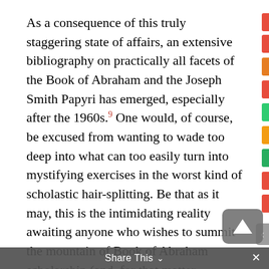As a consequence of this truly staggering state of affairs, an extensive bibliography on practically all facets of the Book of Abraham and the Joseph Smith Papyri has emerged, especially after the 1960s.⁹ One would, of course, be excused from wanting to wade too deep into what can too easily turn into mystifying exercises in the worst kind of scholastic hair-splitting. Be that as it may, this is the intimidating reality awaiting anyone who wishes to summit the mountain of Book of Abraham scholarship (and, for that matter, polemics). Those who wish to compartmentalize and limit their approach to the text by focusing on just one specific aspect, or who otherwise wish to approach the text from just one discipline or background, are welcome to do so, but they should be aware that their analysis, if unable to adequately account for each of these interlocking subcategories, is going to have limited explanatory power. In other words, "If you decide you